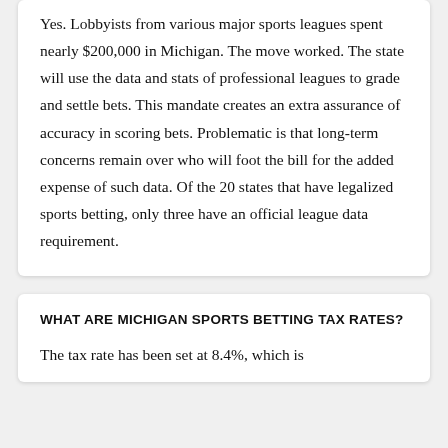Yes. Lobbyists from various major sports leagues spent nearly $200,000 in Michigan. The move worked. The state will use the data and stats of professional leagues to grade and settle bets. This mandate creates an extra assurance of accuracy in scoring bets. Problematic is that long-term concerns remain over who will foot the bill for the added expense of such data. Of the 20 states that have legalized sports betting, only three have an official league data requirement.
WHAT ARE MICHIGAN SPORTS BETTING TAX RATES?
The tax rate has been set at 8.4%, which is